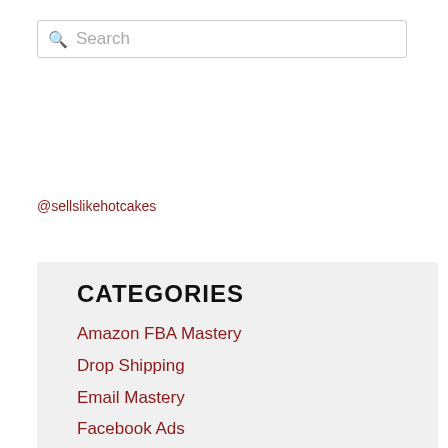[Figure (screenshot): Search box with magnifying glass icon and placeholder text 'Search']
@sellslikehotcakes
CATEGORIES
Amazon FBA Mastery
Drop Shipping
Email Mastery
Facebook Ads
From China With Love
Hacks and Tips